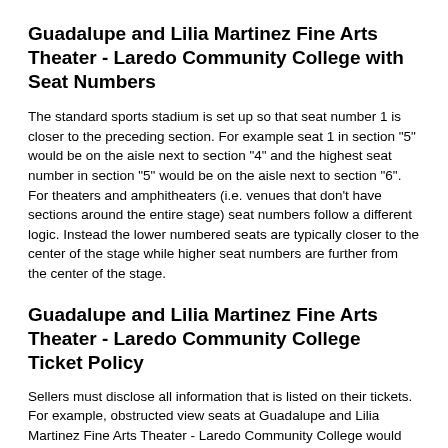Guadalupe and Lilia Martinez Fine Arts Theater - Laredo Community College with Seat Numbers
The standard sports stadium is set up so that seat number 1 is closer to the preceding section. For example seat 1 in section "5" would be on the aisle next to section "4" and the highest seat number in section "5" would be on the aisle next to section "6". For theaters and amphitheaters (i.e. venues that don't have sections around the entire stage) seat numbers follow a different logic. Instead the lower numbered seats are typically closer to the center of the stage while higher seat numbers are further from the center of the stage.
Guadalupe and Lilia Martinez Fine Arts Theater - Laredo Community College Ticket Policy
Sellers must disclose all information that is listed on their tickets. For example, obstructed view seats at Guadalupe and Lilia Martinez Fine Arts Theater - Laredo Community College would be listed for the buyer to consider (or review) prior to purchase. These notes include information